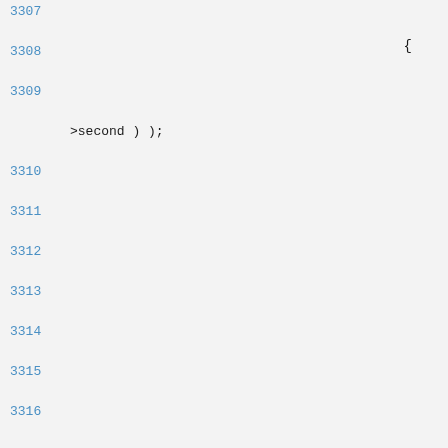3307
{
3308
3309
>second ) );
3310
3311
3312
3313
3314
3315
3316